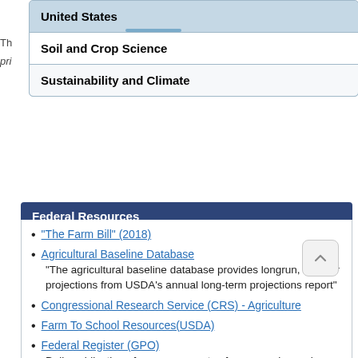United States
Soil and Crop Science
Sustainability and Climate
Federal Resources
"The Farm Bill" (2018)
Agricultural Baseline Database
"The agricultural baseline database provides longrun, 10-year projections from USDA's annual long-term projections report"
Congressional Research Service (CRS) - Agriculture
Farm To School Resources(USDA)
Federal Register (GPO)
Daily publication of announcements of agency rules and regulations.
U.S. Agricultural Trade
U.S. Department of Agriculture (USDA)
U.S. Summary Data